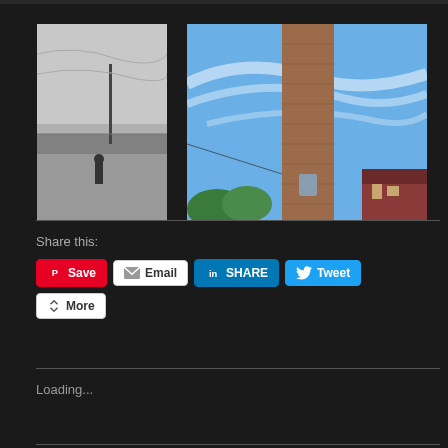[Figure (photo): Black and white photograph of a person standing on a pier or dock near a body of water, with a lamp post visible against a dramatic cloudy sky]
[Figure (photo): Color photograph of a tall brick chimney/tower against a blue sky with wispy clouds, trees and a red-brick building visible at the base]
Share this:
Save  Email  SHARE  Tweet  More
Loading...